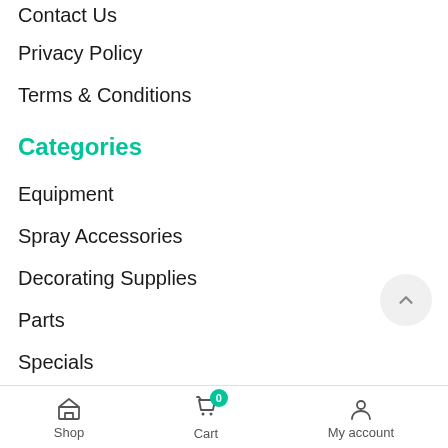Contact Us
Privacy Policy
Terms & Conditions
Categories
Equipment
Spray Accessories
Decorating Supplies
Parts
Specials
Get In Touch With Us
Shop   Cart 0   My account